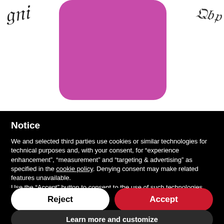[Figure (photo): Top portion of a page showing a pink/magenta rounded rectangle card with cursive script text partially visible on the left and right sides, on a white background.]
Notice
We and selected third parties use cookies or similar technologies for technical purposes and, with your consent, for “experience enhancement”, “measurement” and “targeting & advertising” as specified in the cookie policy. Denying consent may make related features unavailable.
Use the “Accept” button to consent to the use of such technologies. Use the “Reject” button to continue without accepting.
Reject
Accept
Learn more and customize